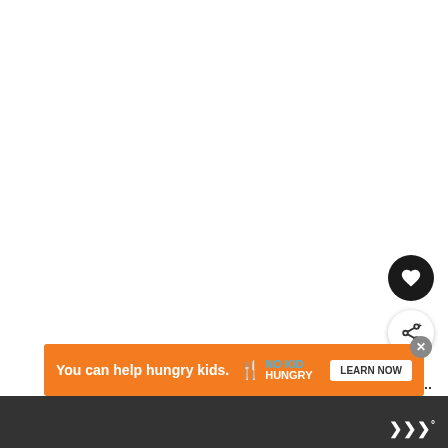[Figure (screenshot): White empty area - top portion of a webpage/article]
[Figure (illustration): Dark circular like/favorite button with heart icon]
[Figure (illustration): White circular share button with share icon and plus]
[Figure (photo): What's Next panel with thumbnail of bike lock and text: The Best Bike Lock of 2021...]
Just like the ABUS 770A SmartX, the LINKA has
[Figure (screenshot): Orange advertisement banner: You can help hungry kids. NO KID HUNGRY. LEARN NOW]
[Figure (other): Dark bottom navigation bar with Wirecutter logo]